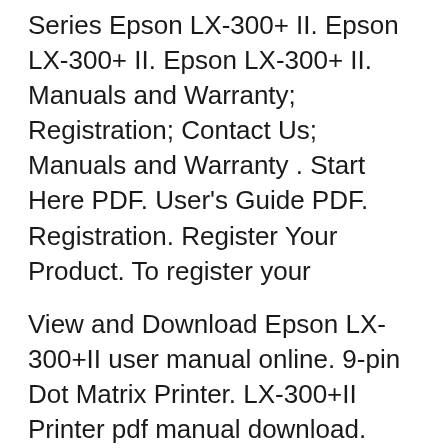Series Epson LX-300+ II. Epson LX-300+ II. Epson LX-300+ II. Manuals and Warranty; Registration; Contact Us; Manuals and Warranty . Start Here PDF. User's Guide PDF. Registration. Register Your Product. To register your
View and Download Epson LX-300+II user manual online. 9-pin Dot Matrix Printer. LX-300+II Printer pdf manual download. Also for: C11c640001 - lx 300+ii b/w dot-matrix printer, Lx-300ii - lx-300+ ii ... Pour en savoir plus sur la manière dont Epson traite vos données personnelles, consultez notre Déclaration sur les informations personnelles. Fermer Epson LX-300+II